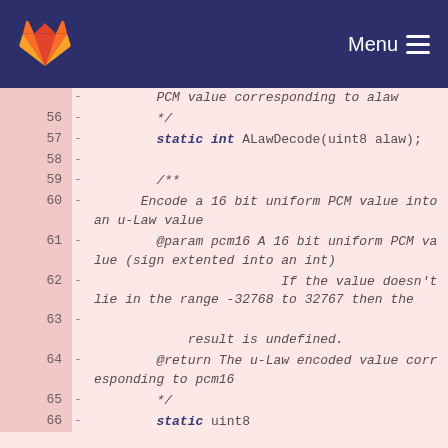Menu
Code diff view showing lines 56-66 of a C++ header file with code comments and static function declarations for ALaw/uLaw audio encoding/decoding.